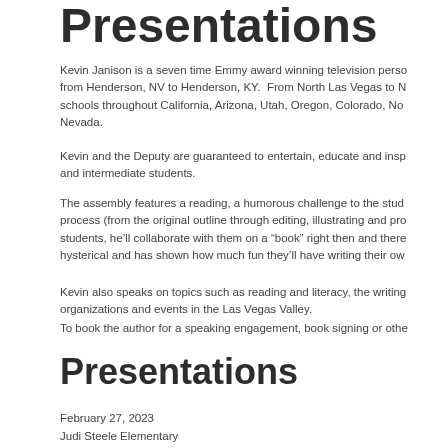Presentations
Kevin Janison is a seven time Emmy award winning television person from Henderson, NV to Henderson, KY. From North Las Vegas to N schools throughout California, Arizona, Utah, Oregon, Colorado, No Nevada.
Kevin and the Deputy are guaranteed to entertain, educate and insp and intermediate students.
The assembly features a reading, a humorous challenge to the stud process (from the original outline through editing, illustrating and pr students, he'll collaborate with them on a "book" right then and there hysterical and has shown how much fun they'll have writing their ow
Kevin also speaks on topics such as reading and literacy, the writing organizations and events in the Las Vegas Valley.
To book the author for a speaking engagement, book signing or oth
Presentations
February 27, 2023
Judi Steele Elementary